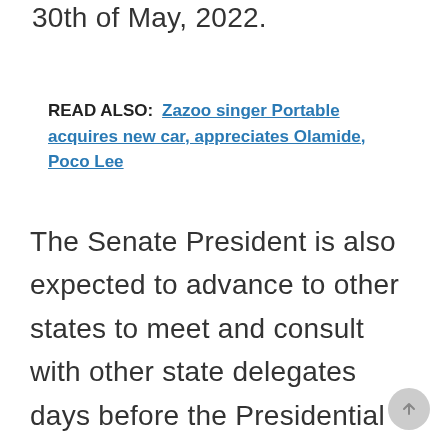30th of May, 2022.
READ ALSO:  Zazoo singer Portable acquires new car, appreciates Olamide, Poco Lee
The Senate President is also expected to advance to other states to meet and consult with other state delegates days before the Presidential primaries.